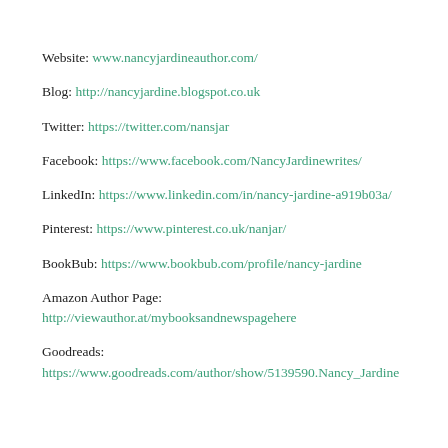Website: www.nancyjardineauthor.com/
Blog: http://nancyjardine.blogspot.co.uk
Twitter: https://twitter.com/nansjar
Facebook: https://www.facebook.com/NancyJardinewrites/
LinkedIn: https://www.linkedin.com/in/nancy-jardine-a919b03a/
Pinterest: https://www.pinterest.co.uk/nanjar/
BookBub: https://www.bookbub.com/profile/nancy-jardine
Amazon Author Page: http://viewauthor.at/mybooksandnewspagehere
Goodreads: https://www.goodreads.com/author/show/5139590.Nancy_Jardine